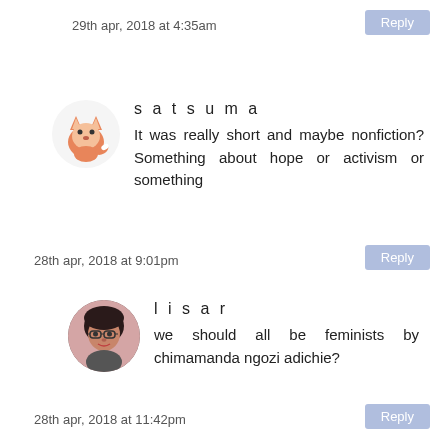29th apr, 2018 at 4:35am
Reply
satsuma
It was really short and maybe nonfiction? Something about hope or activism or something
28th apr, 2018 at 9:01pm
Reply
lisa r
we should all be feminists by chimamanda ngozi adichie?
28th apr, 2018 at 11:42pm
Reply